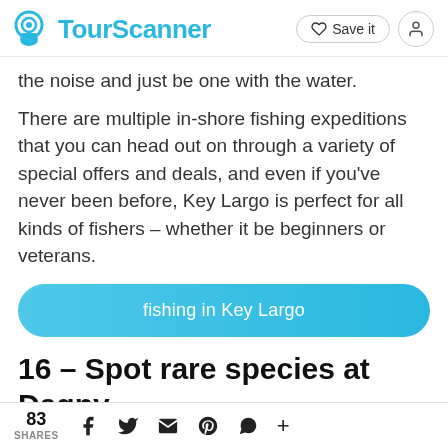TourScanner | Save it
the noise and just be one with the water.
There are multiple in-shore fishing expeditions that you can head out on through a variety of special offers and deals, and even if you've never been before, Key Largo is perfect for all kinds of fishers – whether it be beginners or veterans.
[Figure (other): Blue rounded call-to-action button with white text reading 'fishing in Key Largo']
16 – Spot rare species at Dagny
83 SHARES | social share icons: Facebook, Twitter, Email, Pinterest, WhatsApp, plus